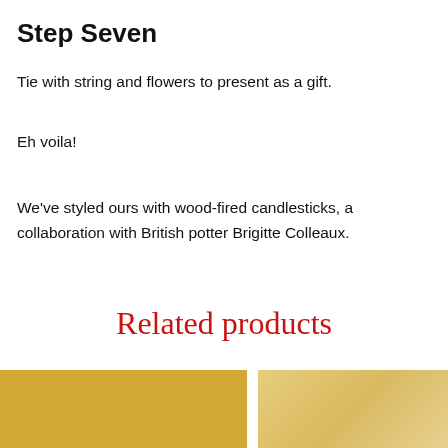Step Seven
Tie with string and flowers to present as a gift.
Eh voila!
We’ve styled ours with wood-fired candlesticks, a collaboration with British potter Brigitte Colleaux.
Related products
[Figure (photo): Golden/amber colored product image on the left]
[Figure (photo): Lighter golden colored product image on the right]